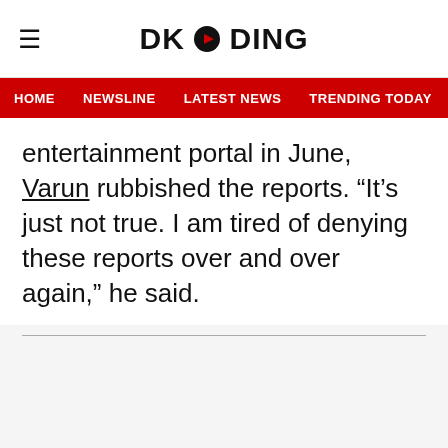DKODING
HOME  NEWSLINE  LATEST NEWS  TRENDING TODAY  ENT
entertainment portal in June, Varun rubbished the reports. “It’s just not true. I am tired of denying these reports over and over again,” he said.